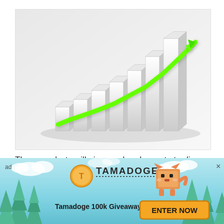[Figure (illustration): 3D bar chart with white bars increasing in height from left to right, with a bright green upward-trending arrow overlaid across the bars on a light grey/white gradient background]
These analysts will give you handy crypto trading tips.
[Figure (photo): Round avatar with dark/black background, partially visible letter]
Dzoelx
[Figure (infographic): Tamadoge advertisement banner with teal sky, clouds, pixel-art Shiba Inu dog, Tamadoge logo coin, and pine trees. Contains 'Tamadoge 100k Giveaway' text and 'ENTER NOW' orange button. Ad label top-left, X close button top-right.]